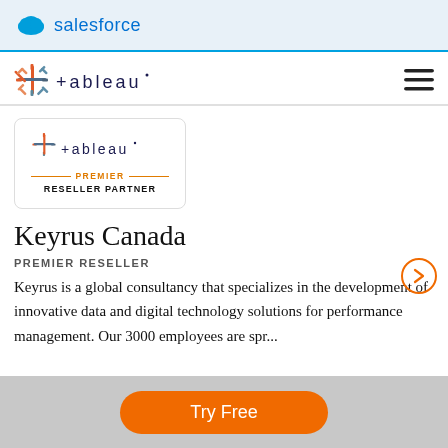salesforce
[Figure (logo): Tableau logo with navigation bar and hamburger menu]
[Figure (logo): Tableau Premier Reseller Partner badge in a rounded rectangle box]
Keyrus Canada
PREMIER RESELLER
Keyrus is a global consultancy that specializes in the development of innovative data and digital technology solutions for performance management. Our 3000 employees are spr...
[Figure (other): Orange circular arrow button pointing right]
Try Free